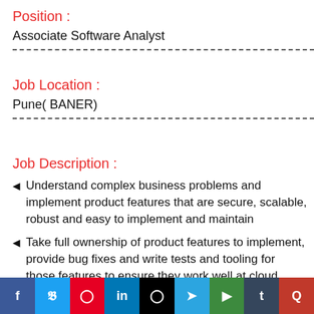Position :
Associate Software Analyst
Job Location :
Pune( BANER)
Job Description :
Understand complex business problems and implement product features that are secure, scalable, robust and easy to implement and maintain
Take full ownership of product features to implement, provide bug fixes and write tests and tooling for those features to ensure they work well at cloud scale
[Figure (infographic): Social media share bar with icons: Facebook, Twitter, Pinterest, LinkedIn, Instagram, Telegram, YouTube, Tumblr, Quora]